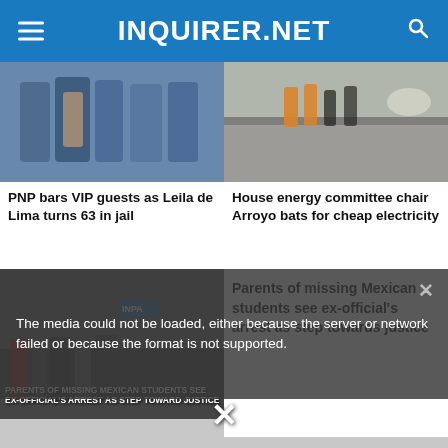INQUIRER.NET
[Figure (photo): Police officers with backs to camera, a person in checked shirt among them]
PNP bars VIP guests as Leila de Lima turns 63 in jail
[Figure (photo): Workers in orange vests on a road or elevated highway]
House energy committee chair Arroyo bats for cheap electricity
[Figure (photo): Protesters with banner: PARENTS OF MISSING MEXICAN STUDENTS SEE EX-OFFICIAL'S ARREST AS STEP TOWARD JUSTICE]
The media could not be loaded, either because the server or network failed or because the format is not supported.
Parents of missing Mexican students see ex-official's arrest as step towards justice